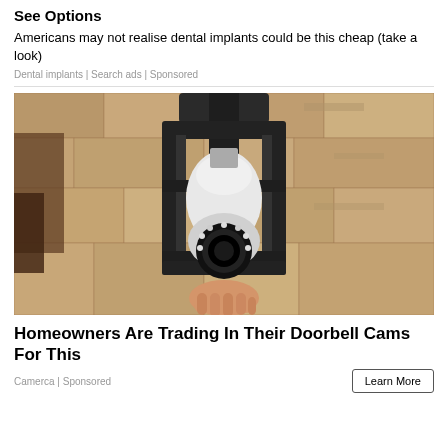See Options
Americans may not realise dental implants could be this cheap (take a look)
Dental implants | Search ads | Sponsored
[Figure (photo): A camera disguised as a light bulb being installed in an outdoor wall lantern fixture on a stone wall]
Homeowners Are Trading In Their Doorbell Cams For This
Camerca | Sponsored